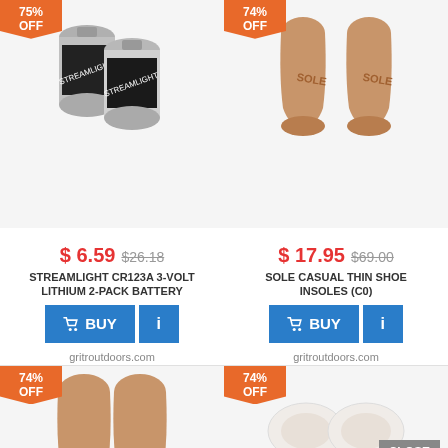[Figure (photo): Two Streamlight CR123A batteries, silver cylindrical cells with black label]
[Figure (photo): Pair of SOLE casual thin shoe insoles, tan/beige color]
$ 6.59 $26.18
STREAMLIGHT CR123A 3-VOLT LITHIUM 2-PACK BATTERY
BUY
gritroutdoors.com
$ 17.95 $69.00
SOLE CASUAL THIN SHOE INSOLES (C0)
BUY
gritroutdoors.com
[Figure (photo): Partial view of insoles from above, tan color, top portion visible]
[Figure (photo): White metatarsal pad insole pieces]